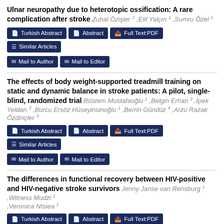Ulnar neuropathy due to heterotopic ossification: A rare complication after stroke
Zuhal Özişler 1, Elif Yalçın 1, Sumru Özel 1
The effects of body weight-supported treadmill training on static and dynamic balance in stroke patients: A pilot, single-blind, randomized trial
Rüstem Mustafaoğlu 1, Belgin Erhan 2, İpek Yeldan 3, Burcu Ersöz Hüseyinsinoğlu 1, Berrin Gündüz 4, Arzu Razak Özdinçler 3
The differences in functional recovery between HIV-positive and HIV-negative stroke survivors
Jenny Janse van Rensburg 1, Witness Mudzi 1, Veronica Ntsiea 1
The ability of calcaneal and multisite quantitative ultrasound